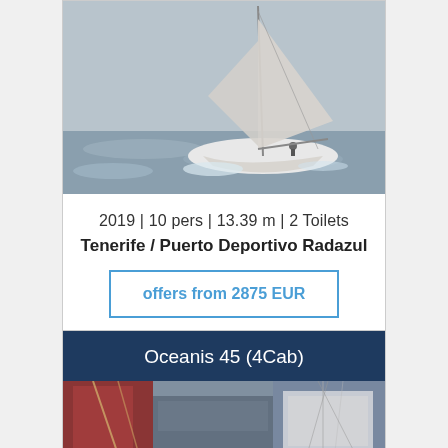[Figure (photo): Sailboat on the water with sails raised, shot from a low angle with blue-grey sky]
2019 | 10 pers | 13.39 m | 2 Toilets
Tenerife / Puerto Deportivo Radazul
offers from 2875 EUR
Oceanis 45 (4Cab)
[Figure (photo): Partial view of boat interior/deck with ropes and equipment visible]